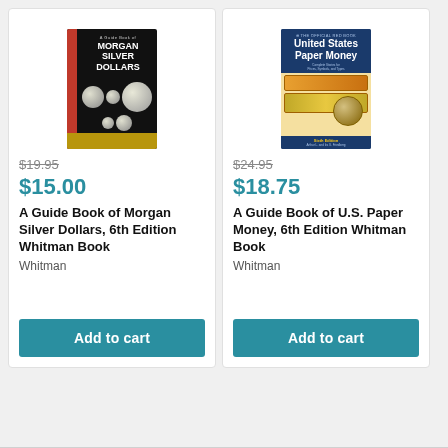[Figure (illustration): Book cover: A Guide Book of Morgan Silver Dollars, 6th Edition, black cover with red spine and gold bottom, featuring coin images]
$19.95
$15.00
A Guide Book of Morgan Silver Dollars, 6th Edition Whitman Book
Whitman
[Figure (illustration): Book cover: A Guide Book of U.S. Paper Money, 6th Edition, blue cover with paper money imagery]
$24.95
$18.75
A Guide Book of U.S. Paper Money, 6th Edition Whitman Book
Whitman